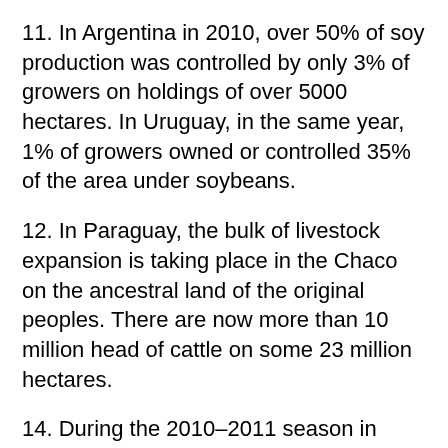11. In Argentina in 2010, over 50% of soy production was controlled by only 3% of growers on holdings of over 5000 hectares. In Uruguay, in the same year, 1% of growers owned or controlled 35% of the area under soybeans.
12. In Paraguay, the bulk of livestock expansion is taking place in the Chaco on the ancestral land of the original peoples. There are now more than 10 million head of cattle on some 23 million hectares.
14. During the 2010–2011 season in Argentina, approximately 256 million litres of glyphosate were used, representing a 1200% within the space of only five years.
16. According to a review of over 8200 soy variety trials conducted in the United States, Roundup Ready